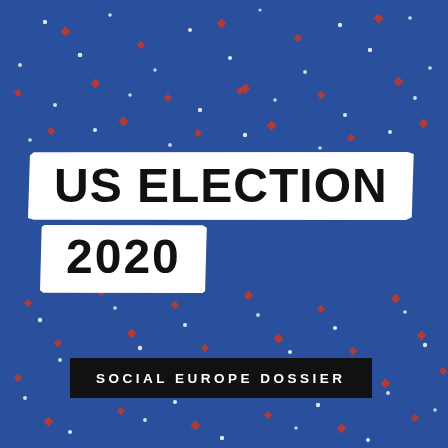[Figure (illustration): Cover image with deep blue background scattered with small white dots and small red diamond/star shapes, creating a starry/confetti pattern. Large white brush-stroke rectangles in the center display the title text 'US ELECTION 2020'. At the bottom, a black rectangle contains the subtitle 'SOCIAL EUROPE DOSSIER'.]
US ELECTION 2020
SOCIAL EUROPE DOSSIER